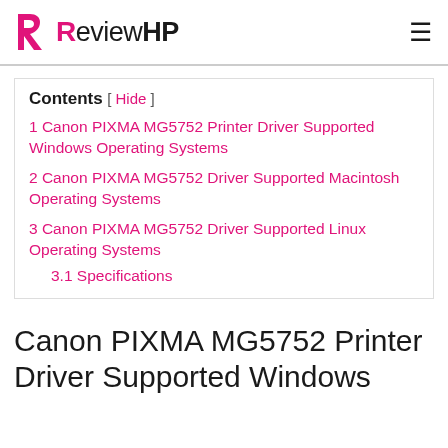ReviewHP
Contents [ Hide ]
1 Canon PIXMA MG5752 Printer Driver Supported Windows Operating Systems
2 Canon PIXMA MG5752 Driver Supported Macintosh Operating Systems
3 Canon PIXMA MG5752 Driver Supported Linux Operating Systems
3.1 Specifications
Canon PIXMA MG5752 Printer Driver Supported Windows